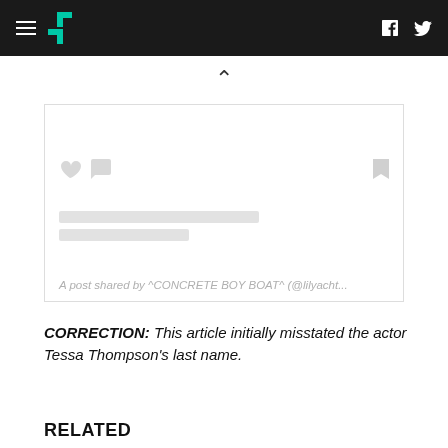HuffPost navigation bar with logo, hamburger menu, Facebook and Twitter icons
[Figure (screenshot): Embedded Instagram/social post card (loading placeholder) showing heart, comment bubble, bookmark icons, placeholder content lines, and caption: A post shared by ^CONCRETE BOY BOAT^ (@lilyacht...)]
CORRECTION: This article initially misstated the actor Tessa Thompson's last name.
RELATED